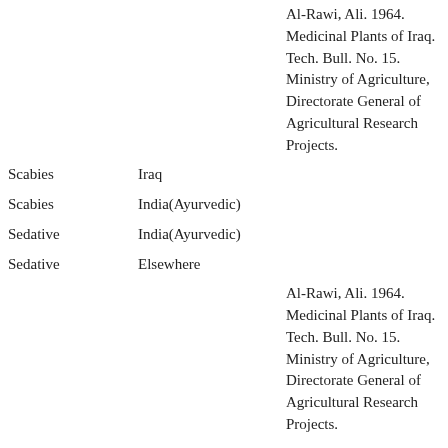| Use | Region | Reference |
| --- | --- | --- |
| Scabies | Iraq | Al-Rawi, Ali. 1964. Medicinal Plants of Iraq. Tech. Bull. No. 15. Ministry of Agriculture, Directorate General of Agricultural Research Projects. |
| Scabies | India(Ayurvedic) |  |
| Sedative | India(Ayurvedic) |  |
| Sedative | Elsewhere |  |
| Sedative | Iraq | Al-Rawi, Ali. 1964. Medicinal Plants of Iraq. Tech. Bull. No. 15. Ministry of Agriculture, Directorate General of Agricultural Research Projects. |
| Senility | Elsewhere |  |
| Sore | Iraq | Al-Rawi, Ali. 1964. Medicinal Plants of Iraq. Tech. Bull. No. 15. Ministry of Agriculture, Directorate General of Agricultural Research Projects. |